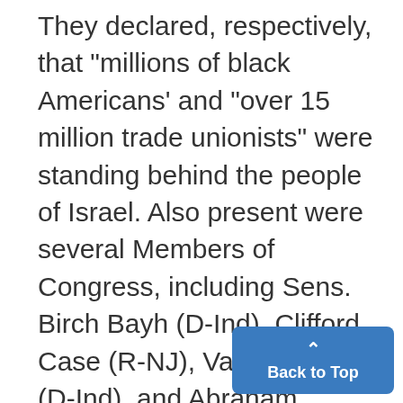They declared, respectively, that "millions of black Americans' and "over 15 million trade unionists" were standing behind the people of Israel. Also present were several Members of Congress, including Sens. Birch Bayh (D-Ind), Clifford Case (R-NJ), Vance Hartke (D-Ind), and Abraham Ribicoff (D-Conn). Many speakers agreed with Sen. Gale McGee (D-Wyo), who called the cause of Israel "an issue for mankind," while others, chiefly